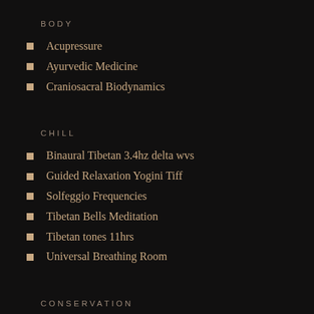BODY
Acupressure
Ayurvedic Medicine
Craniosacral Biodynamics
CHILL
Binaural Tibetan 3.4hz delta wvs
Guided Relaxation Yogini Tiff
Solfeggio Frequencies
Tibetan Bells Meditation
Tibetan tones 11hrs
Universal Breathing Room
CONSERVATION
Breathing Earth
Earthworks
Ecology Global Network
Footprint calculator
Greenpeace